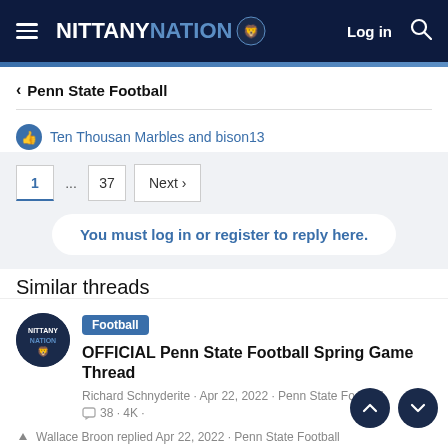NITTANY NATION - Log in
< Penn State Football
Ten Thousan Marbles and bison13
1 ... 37 Next
You must log in or register to reply here.
Similar threads
Football OFFICIAL Penn State Football Spring Game Thread
Richard Schnyderite · Apr 22, 2022 · Penn State Football
38 · 4K ·
Wallace Broon replied Apr 22, 2022 · Penn State Football